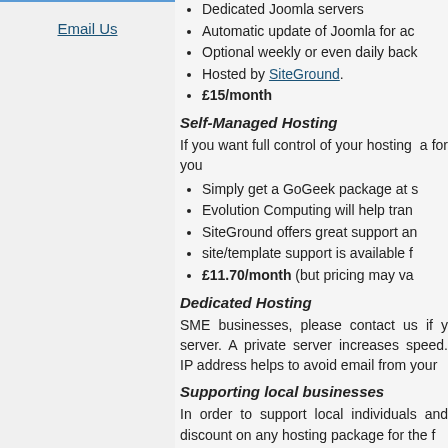Dedicated Joomla servers
Automatic update of Joomla for ac
Optional weekly or even daily back
Hosted by SiteGround.
£15/month
Self-Managed Hosting
If you want full control of your hosting  a for you
Simply get a GoGeek package at s
Evolution Computing will help tran
SiteGround offers great support an
site/template support is available f
£11.70/month (but pricing may va
Dedicated Hosting
SME businesses, please contact us if y server. A private server increases speed. IP address helps to avoid email from your
Supporting local businesses
In order to support local individuals and discount on any hosting package for the f
Email Us